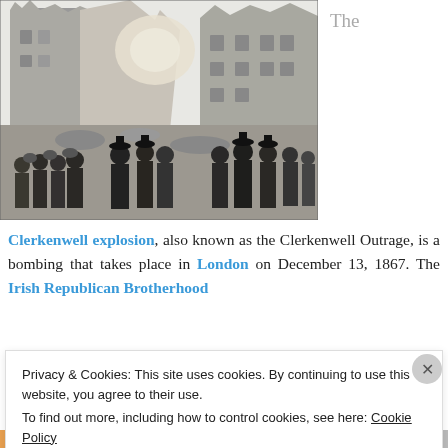[Figure (illustration): Black and white engraving/illustration showing the aftermath of the Clerkenwell explosion, with crowds of people and police standing amid ruined buildings.]
The
Clerkenwell explosion, also known as the Clerkenwell Outrage, is a bombing that takes place in London on December 13, 1867. The Irish Republican Brotherhood
Privacy & Cookies: This site uses cookies. By continuing to use this website, you agree to their use.
To find out more, including how to control cookies, see here: Cookie Policy
Close and accept